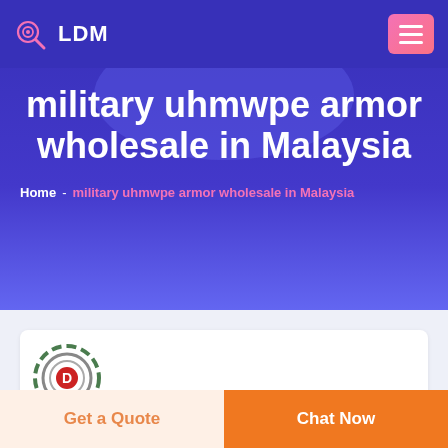LDM
military uhmwpe armor wholesale in Malaysia
Home - military uhmwpe armor wholesale in Malaysia
[Figure (logo): Circular military/target logo with letter D in the center, green and red colors]
Get a Quote
Chat Now